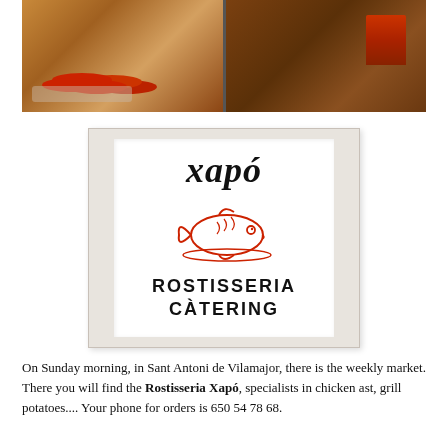[Figure (photo): Top banner photo showing a kitchen/market scene with tomatoes, a pie/tart, and decorative items on the right side, split into two sections]
[Figure (logo): Xapó Rostisseria Catering logo: handwritten 'xapó' text in black italic, red line-art fish illustration, bold text 'ROSTISSERIA' and 'CÀTERING' below, on white background with grey border frame]
On Sunday morning, in Sant Antoni de Vilamajor, there is the weekly market. There you will find the Rostisseria Xapó, specialists in chicken ast, grill potatoes.... Your phone for orders is 650 54 78 68.